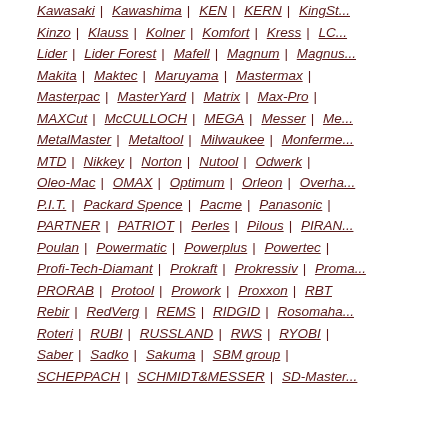Kawasaki | Kawashima | KEN | KERN | KingSt...
Kinzo | Klauss | Kolner | Komfort | Kress | LC...
Lider | Lider Forest | Mafell | Magnum | Magnus...
Makita | Maktec | Maruyama | Mastermax |
Masterpac | MasterYard | Matrix | Max-Pro |
MAXCut | McCULLOCH | MEGA | Messer | Me...
MetalMaster | Metaltool | Milwaukee | Monferme...
MTD | Nikkey | Norton | Nutool | Odwerk |
Oleo-Mac | OMAX | Optimum | Orleon | Overha...
P.I.T. | Packard Spence | Pacme | Panasonic |
PARTNER | PATRIOT | Perles | Pilous | PIRAN...
Poulan | Powermatic | Powerplus | Powertec |
Profi-Tech-Diamant | Prokraft | Prokressiv | Proma...
PRORAB | Protool | Prowork | Proxxon | RBT
Rebir | RedVerg | REMS | RIDGID | Rosomaha...
Roteri | RUBI | RUSSLAND | RWS | RYOBI |
Saber | Sadko | Sakuma | SBM group |
SCHEPPACH | SCHMIDT&MESSER | SD-Master...